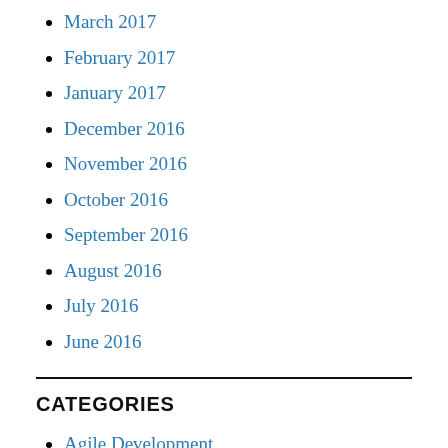March 2017
February 2017
January 2017
December 2016
November 2016
October 2016
September 2016
August 2016
July 2016
June 2016
CATEGORIES
Agile Development
Algorithms